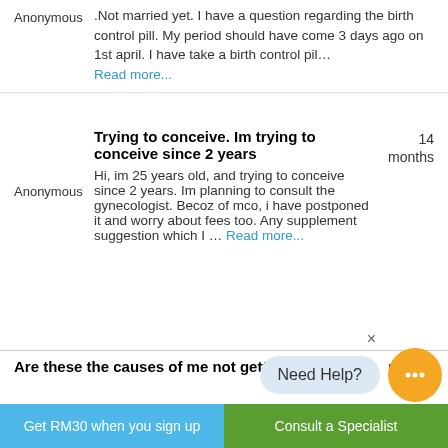Anonymous
.Not married yet. I have a question regarding the birth control pill. My period should have come 3 days ago on 1st april. I have take a birth control pil… Read more...
Trying to conceive. Im trying to conceive since 2 years
14 months
Anonymous
Hi, im 25 years old, and trying to conceive since 2 years. Im planning to consult the gynecologist. Becoz of mco, i have postponed it and worry about fees too. Any supplement suggestion which I … Read more...
5 years
Are these the causes of me not getting pregnant?
[Figure (other): Chat help bubble overlay with close button, speech bubble saying 'Need Help?' and orange chat icon with ellipsis]
Get RM30 when you sign up | Consult a Specialist